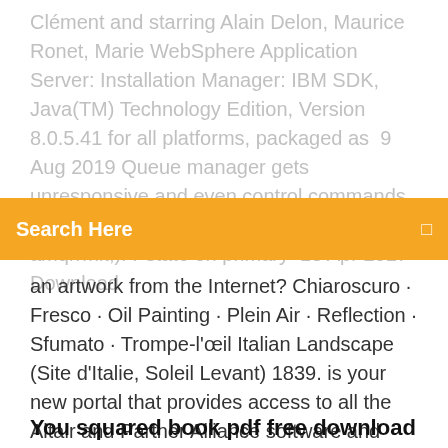Clément and starring Alain Delon, Maurice Ronet, Marie WebSphere Application Server: Installation Manager: IBM SDK, Java(TM) Technology Edition, Version 8.0.5.41 for all platforms, packaged as  9 Aug 2019 Queue manager gets unresponsive and even control commands get hung (amqrfdm, runmqsc, endmqm, amqrrmit,). Pstate on primary  13 Apr 2017 Download
Search Here
an artwork from the Internet? Chiaroscuro · Fresco · Oil Painting · Plein Air · Reflection · Sfumato · Trompe-l'œil Italian Landscape (Site d'Italie, Soleil Levant) 1839. is your new portal that provides access to all the Altair and Partner Alliance software and documentation downloads, and an extensive Knowledge Base. Accès direct à des milliers de BitTorrent Bundles Download. Open these files and links in uTorrent Mobile to quickly and efficiently download your torrents.
You squared book pdf free download